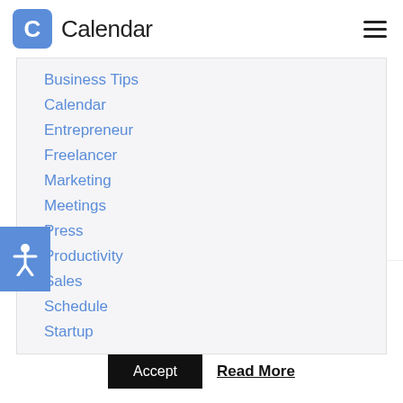Calendar
Business Tips
Calendar
Entrepreneur
Freelancer
Marketing
Meetings
Press
Productivity
Sales
Schedule
Startup
This website uses cookies to improve your experience. We'll assume you're ok with this, but you can opt-out if you wish.
Accept  Read More